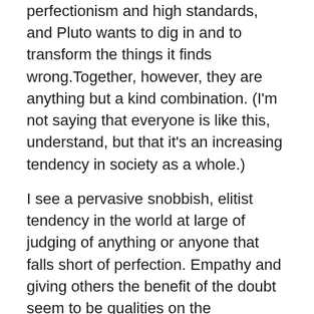perfectionism and high standards, and Pluto wants to dig in and to transform the things it finds wrong.Together, however, they are anything but a kind combination. (I'm not saying that everyone is like this,  understand, but that it's an increasing tendency in society as a whole.)
I see a pervasive snobbish, elitist tendency in the world at large of judging of anything or anyone that falls short of perfection. Empathy and giving others the benefit of the doubt seem to be qualities on the endangered list. So often, these harsh criticisms of both self and others are paired with a sense of entitlement and a lack of gratitude–nothing is ever good enough.
When I was quite young, I went as a lark to get my palm read by a wise and kindly older woman. She told me that I had great potential but a very low opinion of myself. She also said that I would have a great accomplish to that I would